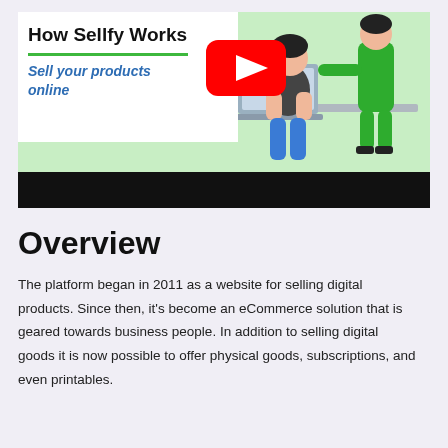[Figure (screenshot): Screenshot of a Sellfy promotional video thumbnail showing 'How Sellfy Works' with a YouTube play button overlay, an animated illustration of a person at a desk with a laptop, and subtitle 'Sell your products online']
Overview
The platform began in 2011 as a website for selling digital products. Since then, it's become an eCommerce solution that is geared towards business people. In addition to selling digital goods it is now possible to offer physical goods, subscriptions, and even printables.